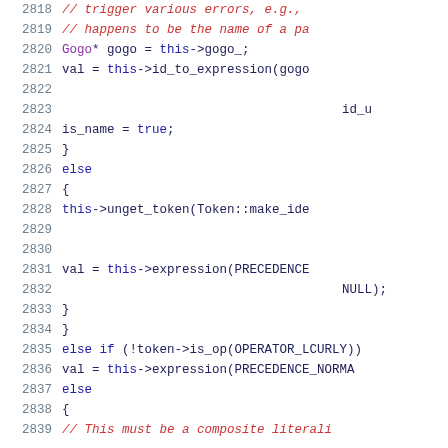[Figure (screenshot): Source code listing showing C++ code lines 2818–2839 with syntax highlighting. Line numbers in grey on the left, keywords in blue, comments in red, types in purple, code in dark blue/black on white background.]